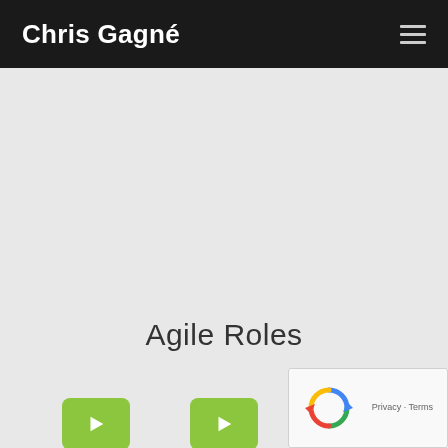Chris Gagné
Agile Roles
[Figure (other): Three green play button thumbnails for video content]
[Figure (other): reCAPTCHA widget overlay in bottom-right corner showing spinning arrows logo and Privacy Terms text]